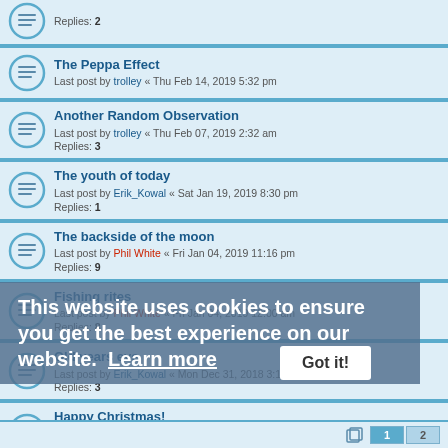Replies: 2
The Peppa Effect
Last post by trolley « Thu Feb 14, 2019 5:32 pm
Another Random Observation
Last post by trolley « Thu Feb 07, 2019 2:32 am
Replies: 3
The youth of today
Last post by Erik_Kowal « Sat Jan 19, 2019 8:30 pm
Replies: 1
The backside of the moon
Last post by Phil White « Fri Jan 04, 2019 11:16 pm
Replies: 9
Fishing rites
Last post by Phil White « Fri Jan 04, 2019 12:00 am
Replies: 8
Old years eve
Last post by Erik_Kowal « Mon Dec 31, 2018 3:17 am
Replies: 3
Happy Christmas!
Last post by gdwdwrkr « Mon Dec 24, 2018 7:57 pm
Replies: 14
What is this type of bird called?
Last post by trolley « Mon Dec 24, 2018 5:42 am
Replies: 16
This website uses cookies to ensure you get the best experience on our website. Learn more
Got it!